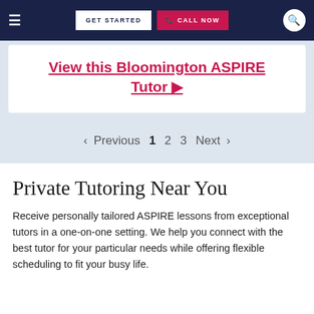≡  GET STARTED  📞 CALL NOW  🔍
View this Bloomington ASPIRE Tutor ▶
< Previous  1  2  3  Next >
Private Tutoring Near You
Receive personally tailored ASPIRE lessons from exceptional tutors in a one-on-one setting. We help you connect with the best tutor for your particular needs while offering flexible scheduling to fit your busy life.